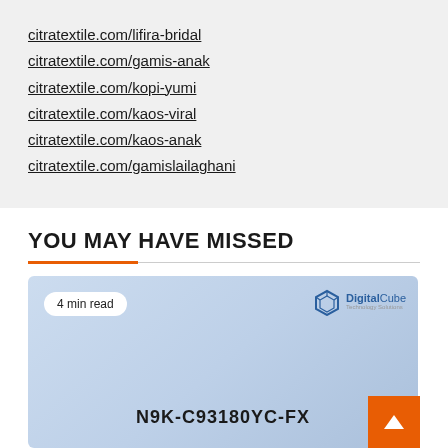citratextile.com/lifira-bridal
citratextile.com/gamis-anak
citratextile.com/kopi-yumi
citratextile.com/kaos-viral
citratextile.com/kaos-anak
citratextile.com/gamislailaghani
YOU MAY HAVE MISSED
[Figure (photo): Article card image with light blue background, '4 min read' badge, DigitalCube logo in top right, and text 'N9K-C93180YC-FX' at the bottom center. An orange back-to-top arrow button overlaps the bottom right.]